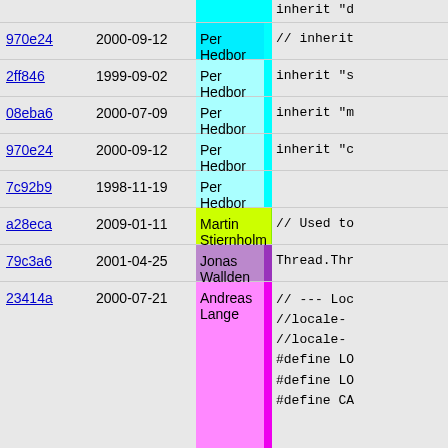| hash | date | author | code |
| --- | --- | --- | --- |
| 970e24 | 2000-09-12 | Per Hedbor | // inherit "d |
| 2ff846 | 1999-09-02 | Per Hedbor | inherit "s |
| 08eba6 | 2000-07-09 | Per Hedbor | inherit "m |
| 970e24 | 2000-09-12 | Per Hedbor | inherit "c |
| 7c92b9 | 1998-11-19 | Per Hedbor |  |
| a28eca | 2009-01-11 | Martin Stjernholm | // Used to |
| 79c3a6 | 2001-04-25 | Jonas Wallden | Thread.Thr |
| 23414a | 2000-07-21 | Andreas Lange | // --- Loc
//<locale-
//<locale-
#define LO
#define LO
#define CA |
| be788e | 2000-03-27 | Martin Nilsson | // --- Deb |
| 81f8af | 1999-12-20 | Martin Nilsson | #ifdef SSL |
| fe1c13 | 2005-05-25 | Martin Stjernholm | # define S |
| 81f8af | 1999-12-20 | Martin Nilsson | #else |